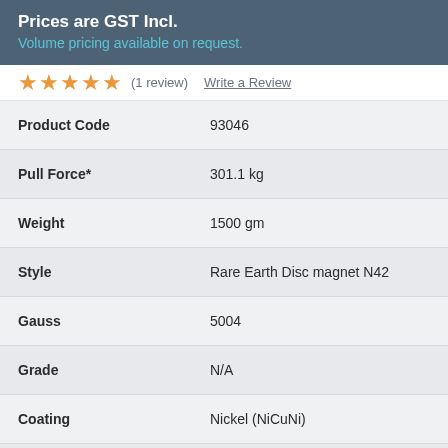Prices are GST Incl.
Volume pricing available on request.
★★★★★ (1 review)  Write a Review
| Property | Value |
| --- | --- |
| Product Code | 93046 |
| Pull Force* | 301.1 kg |
| Weight | 1500 gm |
| Style | Rare Earth Disc magnet N42 |
| Gauss | 5004 |
| Grade | N/A |
| Coating | Nickel (NiCuNi) |
| Direction of Magnetisation | Axially magnetised |
| Dimensions | Height:50mm  Diameter:86mm |